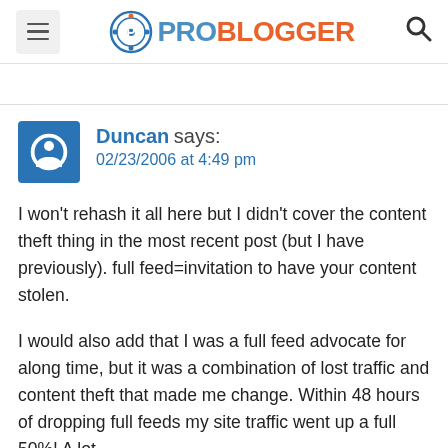ProBlogger
Duncan says:
02/23/2006 at 4:49 pm
I won't rehash it all here but I didn't cover the content theft thing in the most recent post (but I have previously). full feed=invitation to have your content stolen.
I would also add that I was a full feed advocate for along time, but it was a combination of lost traffic and content theft that made me change. Within 48 hours of dropping full feeds my site traffic went up a full 50%! A lot